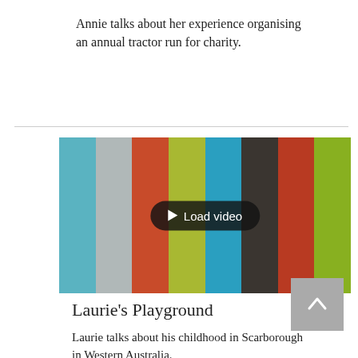Annie talks about her experience organising an annual tractor run for charity.
[Figure (screenshot): Video thumbnail showing color test bars with a 'Load video' button overlay]
Laurie's Playground
Laurie talks about his childhood in Scarborough in Western Australia.